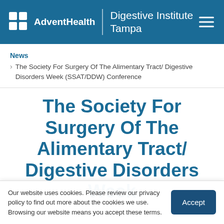AdventHealth | Digestive Institute Tampa
News
The Society For Surgery Of The Alimentary Tract/ Digestive Disorders Week (SSAT/DDW) Conference
The Society For Surgery Of The Alimentary Tract/ Digestive Disorders Week
Our website uses cookies. Please review our privacy policy to find out more about the cookies we use. Browsing our website means you accept these terms.